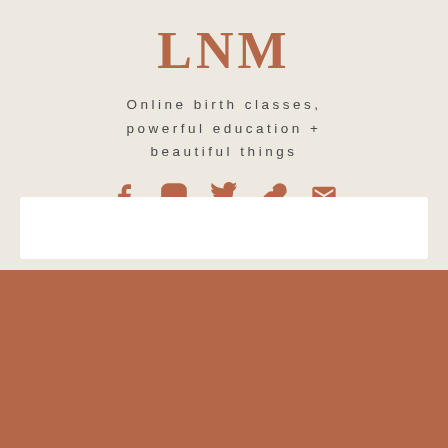LNM
Online birth classes, powerful education + beautiful things
[Figure (infographic): Row of 5 social media / contact icons: Facebook, Instagram, Twitter, Link, Email — all in terracotta/brown color]
[Figure (other): White search/input bar rectangle]
HOME
ABOUT
COURSES
BLOG
CONTACT